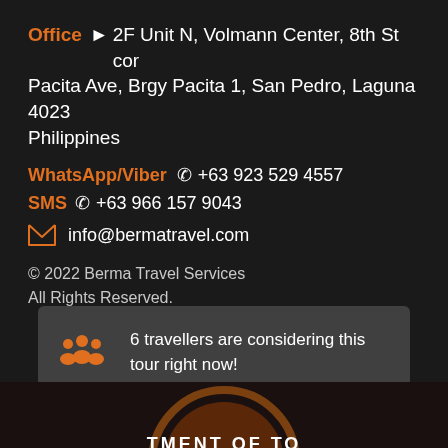Office  2F Unit N, Volmann Center, 8th St cor Pacita Ave, Brgy Pacita 1, San Pedro, Laguna 4023 Philippines
WhatsApp/Viber  +63 923 529 4557
SMS  +63 966 157 9043
info@bermatravel.com
© 2022 Berma Travel Services
All Rights Reserved.
6 travellers are considering this tour right now!
[Figure (logo): Partial circular logo at bottom showing text 'TMENT OF TO']